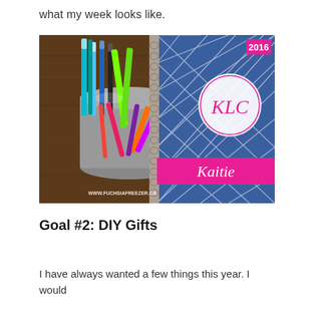what my week looks like.
[Figure (photo): A photo showing a cup full of colorful gel pens on the left and a blue spiral-bound planner on the right. The planner has a diamond/lattice pattern in blue and white, a pink monogram circle with letters KLC, a pink banner reading 'Kaitie', and '2016' in the top right corner. The photo has a watermark reading 'WWW.FUCHSIAFREEZER.CA'.]
Goal #2: DIY Gifts
I have always wanted a few things this year. I would